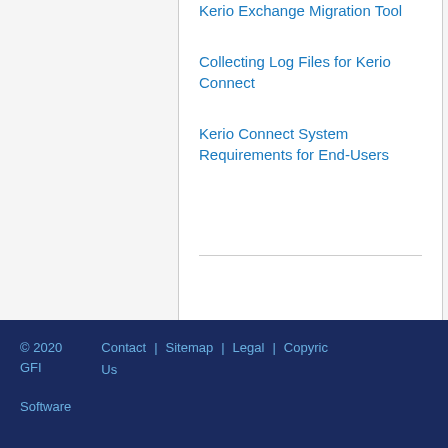Kerio Exchange Migration Tool
Collecting Log Files for Kerio Connect
Kerio Connect System Requirements for End-Users
© 2020 GFI Software   Contact Us  |  Sitemap  |  Legal  |  Copyright